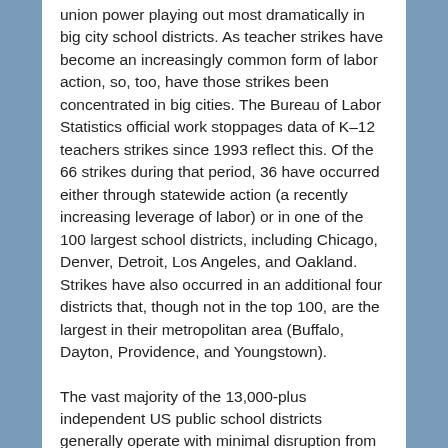union power playing out most dramatically in big city school districts. As teacher strikes have become an increasingly common form of labor action, so, too, have those strikes been concentrated in big cities. The Bureau of Labor Statistics official work stoppages data of K–12 teachers strikes since 1993 reflect this. Of the 66 strikes during that period, 36 have occurred either through statewide action (a recently increasing leverage of labor) or in one of the 100 largest school districts, including Chicago, Denver, Detroit, Los Angeles, and Oakland. Strikes have also occurred in an additional four districts that, though not in the top 100, are the largest in their metropolitan area (Buffalo, Dayton, Providence, and Youngstown).
The vast majority of the 13,000-plus independent US public school districts generally operate with minimal disruption from unions. So it's worth understanding where and why unions do have power. There is an association between school district labor unrest and the size of a local school district—and the resulting clout of organized labor. Put simply, it is one thing to take a work action to